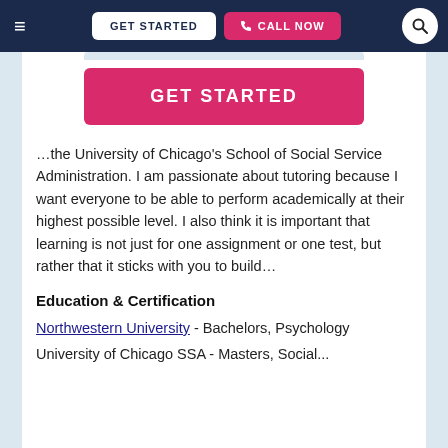GET STARTED | CALL NOW
[Figure (screenshot): GET STARTED button in pink/magenta]
…the University of Chicago's School of Social Service Administration. I am passionate about tutoring because I want everyone to be able to perform academically at their highest possible level. I also think it is important that learning is not just for one assignment or one test, but rather that it sticks with you to build…
Education & Certification
Northwestern University - Bachelors, Psychology
University of Chicago SSA - Masters, Social...